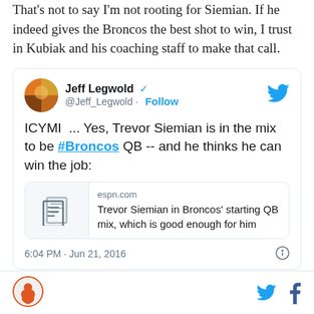That's not to say I'm not rooting for Siemian. If he indeed gives the Broncos the best shot to win, I trust in Kubiak and his coaching staff to make that call.
[Figure (screenshot): Embedded tweet from Jeff Legwold (@Jeff_Legwold) with verified badge and Follow button. Tweet text: ICYMI ... Yes, Trevor Siemian is in the mix to be #Broncos QB -- and he thinks he can win the job: with an embedded ESPN link card for 'Trevor Siemian in Broncos' starting QB mix, which is good enough for him'. Timestamp: 6:04 PM · Jun 21, 2016]
SB Nation logo, Twitter bird icon, Facebook f icon